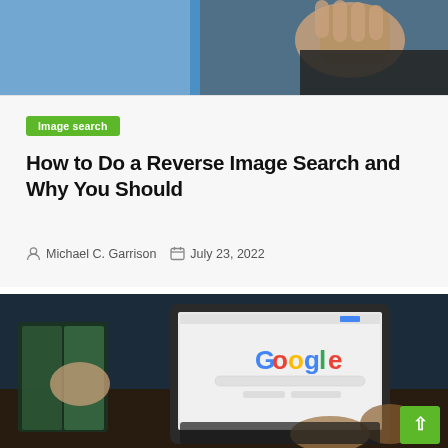[Figure (photo): Partial view of a person in dark clothing, cropped at top, with a blue background]
Image search
How to Do a Reverse Image Search and Why You Should
Michael C. Garrison  July 23, 2022
[Figure (photo): Person using a laptop showing Google homepage, with an open book on the desk beside them]